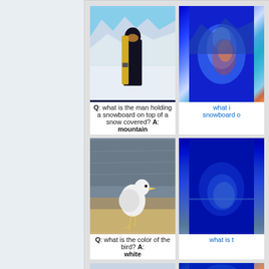[Figure (photo): Photo of a man in black jacket holding a yellow snowboard standing on top of a snow-covered mountain with mountain range in the background]
Q: what is the man holding a snowboard on top of a snow covered? A: mountain
[Figure (photo): Heatmap/attention visualization overlay on snowboarder image with blue-to-orange color gradient]
what is the man holding a snowboard o...
[Figure (photo): Photo of a white seagull bird standing on sand near water]
Q: what is the color of the bird? A: white
[Figure (photo): Heatmap/attention visualization overlay on bird image with blue color gradient]
what is t...
[Figure (photo): Partial photo at bottom showing a person, partially cut off]
[Figure (photo): Partial heatmap visualization at bottom, partially cut off]